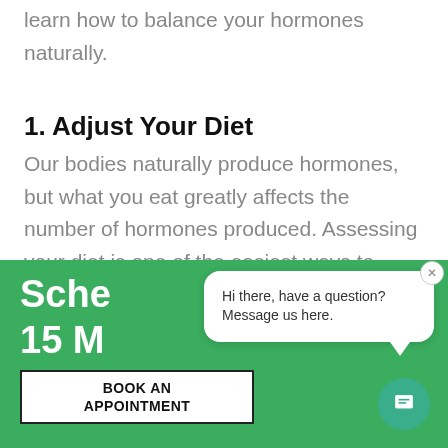learn how to balance your hormones naturally.
1. Adjust Your Diet
Our bodies naturally produce hormones, but what you eat greatly affects the number of hormones produced. Assessing your diet is one of the easiest ways to learn
[Figure (screenshot): Green promotional banner with text 'Schedule a Free 15 Minute Call', a 'BOOK AN APPOINTMENT' button, and a chat popup bubble saying 'Hi there, have a question? Message us here.' with a teal chat icon button.]